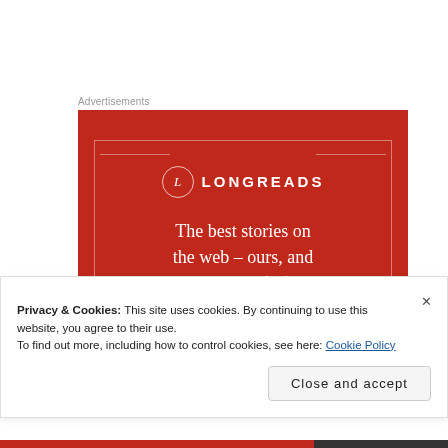Advertisements
[Figure (illustration): Longreads advertisement banner on red background with tagline: The best stories on the web – ours, and everyone else's.]
Privacy & Cookies: This site uses cookies. By continuing to use this website, you agree to their use.
To find out more, including how to control cookies, see here: Cookie Policy